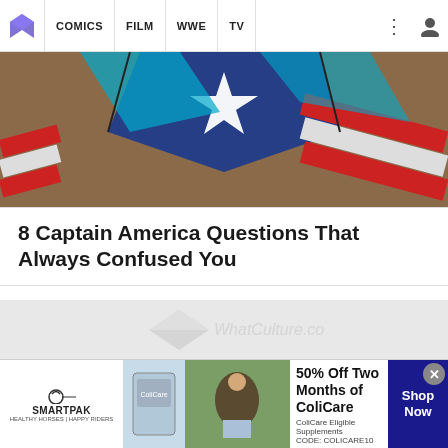[Figure (screenshot): Website navigation bar with logo, COMICS, FILM, WWE, TV menu items and icons]
[Figure (illustration): Captain America comic art showing shield with star, red and blue colors]
8 Captain America Questions That Always Confused You
[Figure (screenshot): WhatCulture.com loading placeholder with faded logo watermark on gray background]
[Figure (photo): SmartPak advertisement: 50% Off Two Months of ColiCare, ColiCare Eligible Supplements, CODE: COLICARE10, with horse and rider photo and Shop Now button]